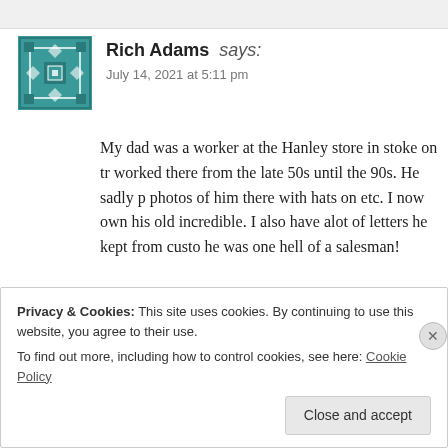Rich Adams says: July 14, 2021 at 5:11 pm
My dad was a worker at the Hanley store in stoke on tr... worked there from the late 50s until the 90s. He sadly p... photos of him there with hats on etc. I now own his old... incredible. I also have alot of letters he kept from custo... he was one hell of a salesman!
Like
Reply
Privacy & Cookies: This site uses cookies. By continuing to use this website, you agree to their use.
To find out more, including how to control cookies, see here: Cookie Policy
Close and accept